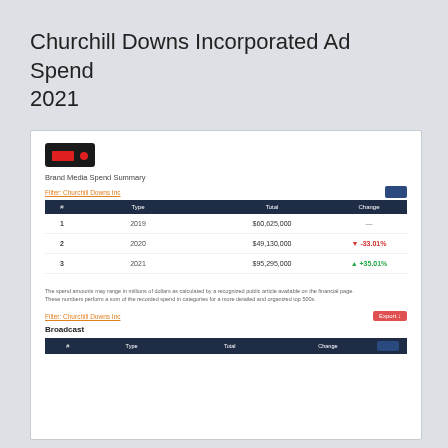Churchill Downs Incorporated Ad Spend 2021
[Figure (screenshot): Brand Media Spend Summary report screenshot showing a table with columns for rank, type, total, and change. Three rows of data are partially visible with blurred values approximately showing $60,625,000, $49,130,000 (with red down arrow ~-33.01%), and $95,295,000 (with green up arrow ~+35.01%). Below the table is a footnote disclaimer text. A second section labeled 'Broadcast' is shown at bottom with its own filter row and table header.]